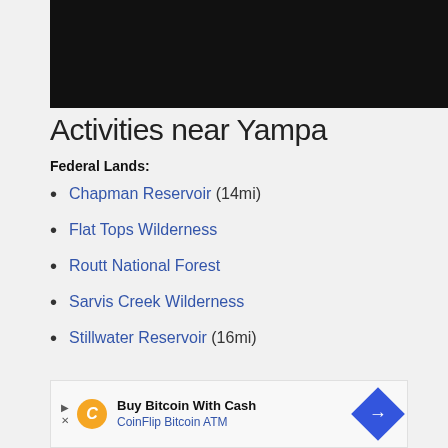[Figure (photo): Dark/black image banner at the top of the page]
Activities near Yampa
Federal Lands:
Chapman Reservoir (14mi)
Flat Tops Wilderness
Routt National Forest
Sarvis Creek Wilderness
Stillwater Reservoir (16mi)
[Figure (other): Advertisement banner: Buy Bitcoin With Cash - CoinFlip Bitcoin ATM]